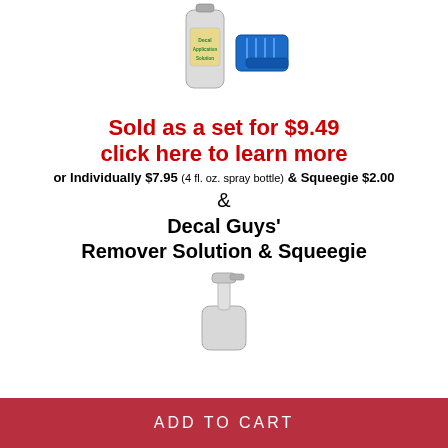[Figure (photo): Photo of a spray bottle with label and a blue squeegie tool]
Sold as a set for $9.49 click here to learn more
or Individually $7.95 (4 fl. oz. spray bottle) & Squeegie $2.00
&
Decal Guys' Remover Solution & Squeegie
[Figure (photo): Photo of a spray bottle nozzle/pump]
ADD TO CART